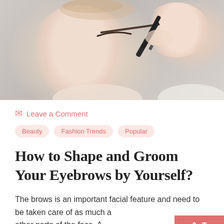[Figure (photo): Two women close up — one having her eyebrow groomed/shaped by the other who holds a brow pencil or tool. Light neutral background.]
Leave a Comment
Beauty  Fashion Trends  Popular
How to Shape and Groom Your Eyebrows by Yourself?
The brows is an important facial feature and need to be taken care of as much a other parts of the face. A...